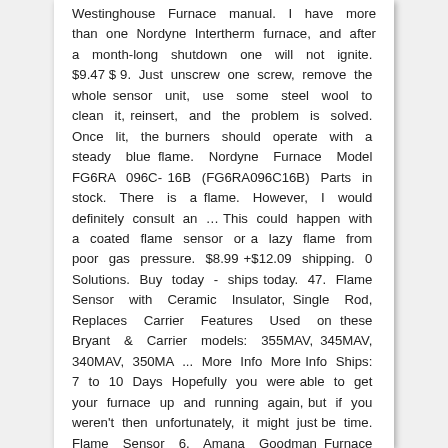Westinghouse Furnace manual. I have more than one Nordyne Intertherm furnace, and after a month-long shutdown one will not ignite. $9.47 $ 9. Just unscrew one screw, remove the whole sensor unit, use some steel wool to clean it, reinsert, and the problem is solved. Once lit, the burners should operate with a steady blue flame. Nordyne Furnace Model FG6RA 096C-16B (FG6RA096C16B) Parts in stock. There is a flame. However, I would definitely consult an … This could happen with a coated flame sensor or a lazy flame from poor gas pressure. $8.99 +$12.09 shipping. 0 Solutions. Buy today - ships today. 47. Flame Sensor with Ceramic Insulator, Single Rod, Replaces Carrier Features Used on these Bryant & Carrier models: 355MAV, 345MAV, 340MAV, 350MA ... More Info More Info Ships: 7 to 10 Days Hopefully you were able to get your furnace up and running again, but if you weren't then unfortunately, it might just be time. Flame Sensor 6. Amana Goodman Furnace Flame Sensor 0130F00010 This is a brand new Original Equipment Manufacturer